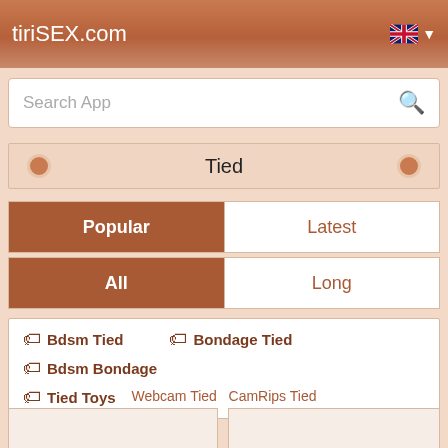tiriSEX.com
Search App
Tied
Popular
Latest
All
Long
Bdsm Tied
Bondage Tied
Bdsm Bondage
Tied Toys
Webcam Tied CamRips Tied